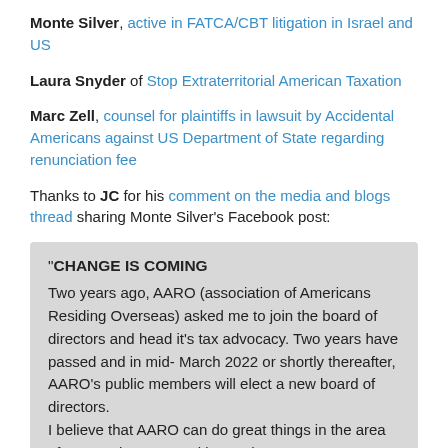Monte Silver, active in FATCA/CBT litigation in Israel and US
Laura Snyder of Stop Extraterritorial American Taxation
Marc Zell, counsel for plaintiffs in lawsuit by Accidental Americans against US Department of State regarding renunciation fee
Thanks to JC for his comment on the media and blogs thread sharing Monte Silver's Facebook post:
“CHANGE IS COMING
Two years ago, AARO (association of Americans Residing Overseas) asked me to join the board of directors and head it's tax advocacy. Two years have passed and in mid- March 2022 or shortly thereafter, AARO’s public members will elect a new board of directors.
I believe that AARO can do great things in the area of expat advocacy, and beyond. However, I